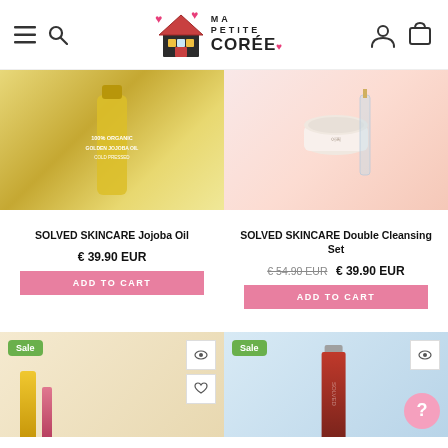[Figure (screenshot): Ma Petite Corée e-commerce website header with hamburger menu, search icon, logo with house illustration, user icon and cart icon]
[Figure (photo): Product photo of SOLVED SKINCARE Jojoba Oil bottle, golden/yellow color on warm background]
[Figure (photo): Product photo of SOLVED SKINCARE Double Cleansing Set white jar on pink background]
SOLVED SKINCARE Jojoba Oil
€ 39.90 EUR
ADD TO CART
SOLVED SKINCARE Double Cleansing Set
€ 54.90 EUR  € 39.90 EUR
ADD TO CART
[Figure (photo): Sale product photo on beige background with small bottles, Sale badge visible]
[Figure (photo): Sale product photo of red bottle on light blue background with Sale badge and pink question circle]